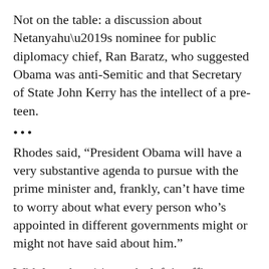Not on the table: a discussion about Netanyahu’s nominee for public diplomacy chief, Ran Baratz, who suggested Obama was anti-Semitic and that Secretary of State John Kerry has the intellect of a pre-teen.
•••
Rhodes said, “President Obama will have a very substantive agenda to pursue with the prime minister and, frankly, can’t have time to worry about what every person who’s appointed in different governments might or might not have said about him.”
With less than 14 months left in office, Obama’s ability to influence Middle East events is now limited, the officials said. At the same time, a goal